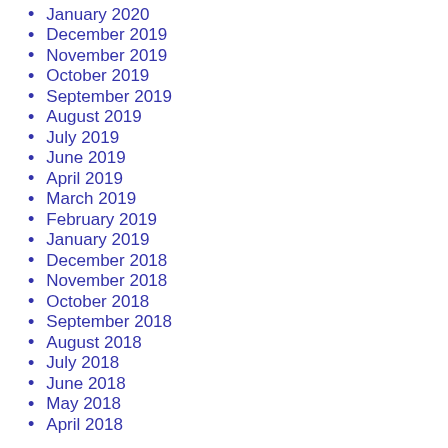January 2020
December 2019
November 2019
October 2019
September 2019
August 2019
July 2019
June 2019
April 2019
March 2019
February 2019
January 2019
December 2018
November 2018
October 2018
September 2018
August 2018
July 2018
June 2018
May 2018
April 2018